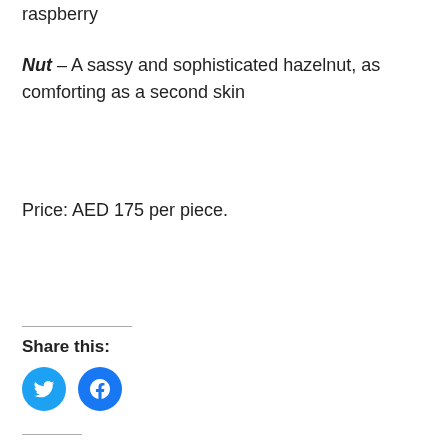raspberry
Nut – A sassy and sophisticated hazelnut, as comforting as a second skin
Price: AED 175 per piece.
Share this:
[Figure (other): Twitter and Facebook share buttons (circular blue icons)]